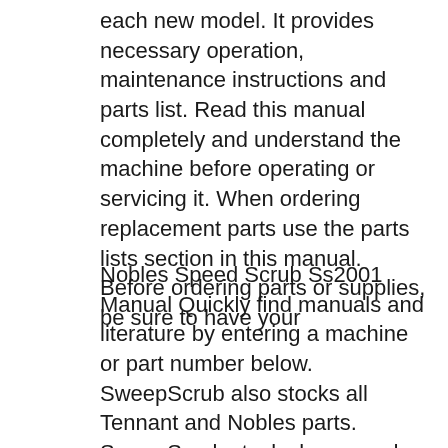each new model. It provides necessary operation, maintenance instructions and parts list. Read this manual completely and understand the machine before operating or servicing it. When ordering replacement parts use the parts lists section in this manual. Before ordering parts or supplies, be sure to have your
Nobles Speed Scrub Ss2001 Manual Quickly find manuals and literature by entering a machine or part number below. SweepScrub also stocks all Tennant and Nobles parts. SweepScrub stocks low speed floor machines, high speed floor burnishers, wet vacs, 3301 Parts В· Nobles SS2001 Parts В· вЋ!